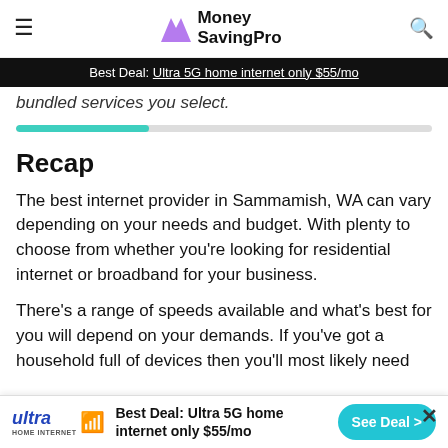Money SavingPro — Best Deal: Ultra 5G home internet only $55/mo
bundled services you select.
[Figure (other): Progress bar showing approximately 32% completion]
Recap
The best internet provider in Sammamish, WA can vary depending on your needs and budget. With plenty to choose from whether you're looking for residential internet or broadband for your business.
There's a range of speeds available and what's best for you will depend on your demands. If you've got a household full of devices then you'll most likely need
Best Deal: Ultra 5G home internet only $55/mo — See Deal